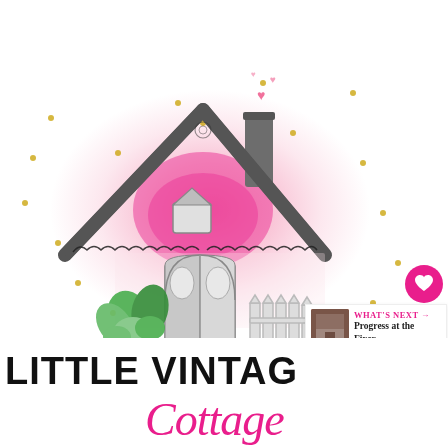[Figure (illustration): Little Vintage Cottage logo: watercolor illustration of a charming pink cottage with dark gray roof trimmed with lace-like detail, arched double doors, a small dormer window, chimney with pink hearts floating up, surrounded by green succulents, a white picket fence, pink watercolor wash background blob, and scattered gold dots. Text reads 'LITTLE VINTAGE COTTAGE' in bold black serif and pink italic script.]